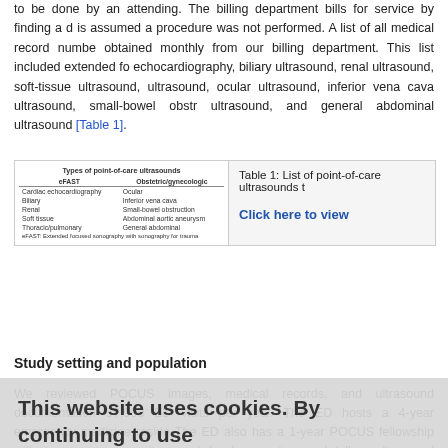to be done by an attending. The billing department bills for service by finding a document is assumed a procedure was not performed. A list of all medical record numbers obtained monthly from our billing department. This list included extended focus echocardiography, biliary ultrasound, renal ultrasound, soft-tissue ultrasound, ultrasound, ocular ultrasound, inferior vena cava ultrasound, small-bowel obstruction ultrasound, and general abdominal ultrasound [Table 1].
| eFAST | Obstetric/gynecologic |
| --- | --- |
| Cardiac echocardiography | Ocular |
| Biliary | Inferior vena cava |
| Renal | Small-bowel obstruction |
| Soft tissue | Abdominal aortic aneurysm |
| Thoracic/pulmonary | General abdominal |
| eFAST: Extended focused sonography with sonography for trauma |  |
Table 1: List of point-of-care ultrasounds t...
Study setting and population
We reviewed POCUS images, medical records, and ultrasound documentation 57,900 ED visits per year. The ED hosts a 4-year emergency medicine residency. The ED also has a 1-year POCUS fellowship with two emergency ultrasound fe documenting and billing ultrasound procedures in 2004. All faculty and fellows and interpret POCUS scans. To be credentialed, each faculty member must demo In addition, each faculty must perform 25 scans of each scan type for independe the discretion of the treating physician for patient care purposes.
This website uses cookies. By continuing to use this site you are agreeing to our use of cookies. For information on cookies and how you can disable them visit our Privacy and cookie policy.
Study protocol
During weekly ultrasound QA review sessions, the medical record and ultrasound and recorded. The patient's medical records and encounters were reviewed to s